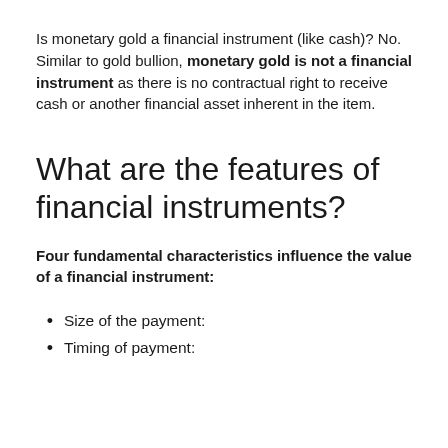Is monetary gold a financial instrument (like cash)? No. Similar to gold bullion, monetary gold is not a financial instrument as there is no contractual right to receive cash or another financial asset inherent in the item.
What are the features of financial instruments?
Four fundamental characteristics influence the value of a financial instrument:
Size of the payment:
Timing of payment: